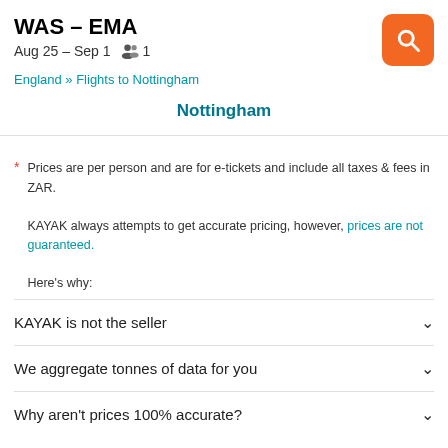WAS – EMA
Aug 25 – Sep 1  🧑 1
England » Flights to Nottingham
Nottingham
* Prices are per person and are for e-tickets and include all taxes & fees in ZAR.

KAYAK always attempts to get accurate pricing, however, prices are not guaranteed.

Here's why:
KAYAK is not the seller
We aggregate tonnes of data for you
Why aren't prices 100% accurate?